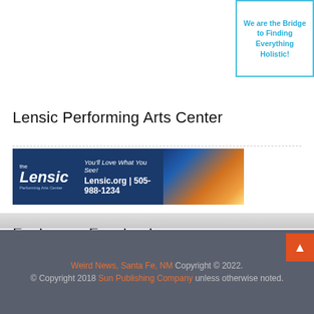[Figure (other): Advertisement box with cyan border containing text: 'We are the Bridge to Finding Everything Holistic!']
Lensic Performing Arts Center
[Figure (other): Lensic Performing Arts Center banner advertisement. Dark blue background with Lensic logo on left, tagline 'You'll Love What You See!', contact info 'Lensic.org | 505-988-1234', and building photo on right.]
Find us on Facebook
Weird News, Santa Fe, NM Copyright © 2022. © Copyright 2018 Sun Publishing Company unless otherwise noted.